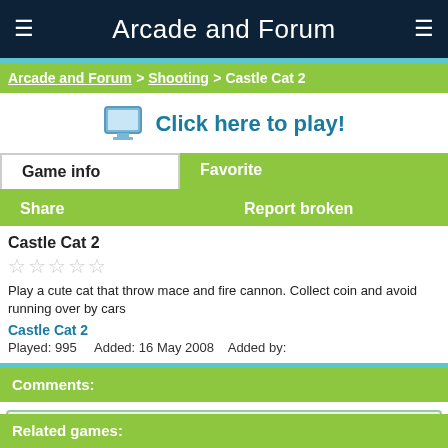Arcade and Forum
Arcade and Forum > Shooting > Castle Cat 2
Click here to play!
Game info
Favorite
Share
Report broken
Castle Cat 2
Play a cute cat that throw mace and fire cannon. Collect coin and avoid running over by cars
Castle Cat 2
Played: 995    Added: 16 May 2008    Added by:
Comments:
Please login or register to leave a comment.
Related games: